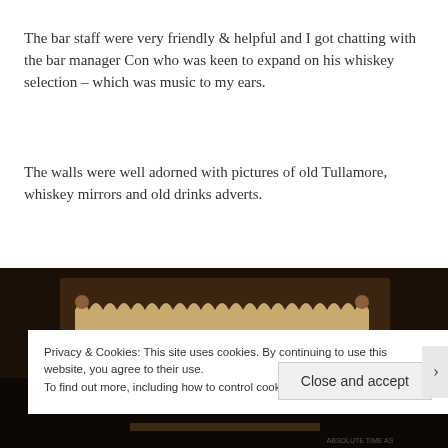The bar staff were very friendly & helpful and I got chatting with the bar manager Con who was keen to expand on his whiskey selection – which was music to my ears.
The walls were well adorned with pictures of old Tullamore, whiskey mirrors and old drinks adverts.
[Figure (photo): Dark interior photo showing a Kinahan's whiskey sign with decorative scalloped/crown-shaped top border in brown/tan colors against a dark background]
Privacy & Cookies: This site uses cookies. By continuing to use this website, you agree to their use.
To find out more, including how to control cookies, see here: Cookie Policy
Close and accept